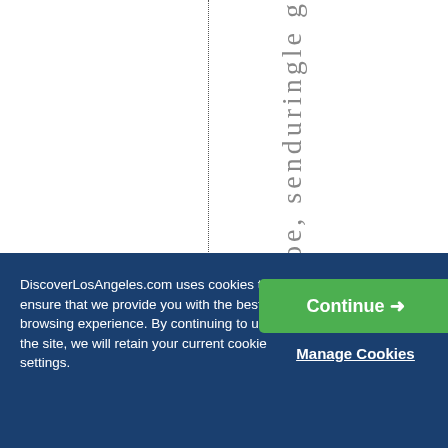[Figure (screenshot): White webpage area with a vertical dotted line dividing the page, and vertically rotated grey text reading 'roe,senduringle g' (partial word visible, appears to be part of a longer phrase rotated 90 degrees)]
DiscoverLosAngeles.com uses cookies to ensure that we provide you with the best browsing experience. By continuing to use the site, we will retain your current cookie settings.
Continue →
Manage Cookies